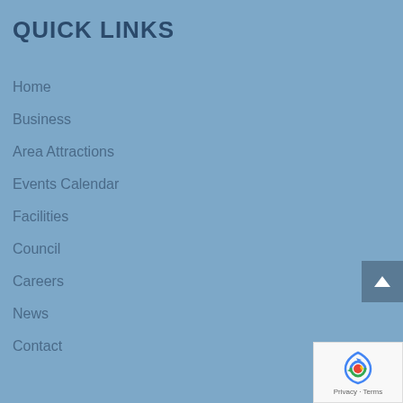QUICK LINKS
Home
Business
Area Attractions
Events Calendar
Facilities
Council
Careers
News
Contact
[Figure (logo): reCAPTCHA logo with Privacy and Terms text]